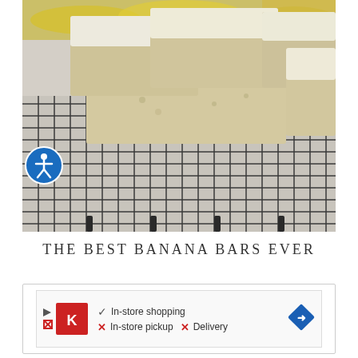[Figure (photo): Photograph of banana bars with cream cheese frosting cut into squares, arranged on a wire cooling rack with bananas visible in the background. A blue accessibility icon is overlaid on the lower-left of the image.]
THE BEST BANANA BARS EVER
[Figure (screenshot): Advertisement banner showing a Kroger store listing with icons indicating In-store shopping (checkmark), In-store pickup (X), and Delivery (X), with a blue diamond navigation arrow on the right.]